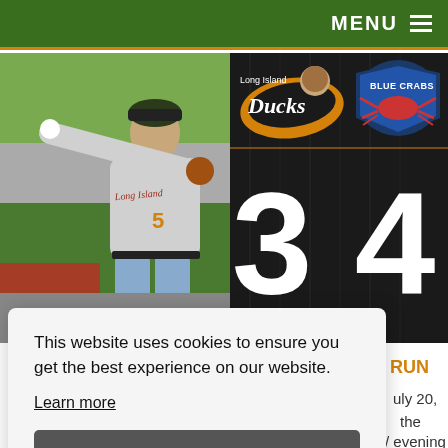MENU ≡
[Figure (photo): Baseball pitcher in Long Island Ducks uniform mid-throw, with scoreboard showing Ducks 3, Blue Crabs 4, with team logos]
This website uses cookies to ensure you get the best experience on our website.
Learn more
Got it!
RUN
uly 20,
the
/ evening